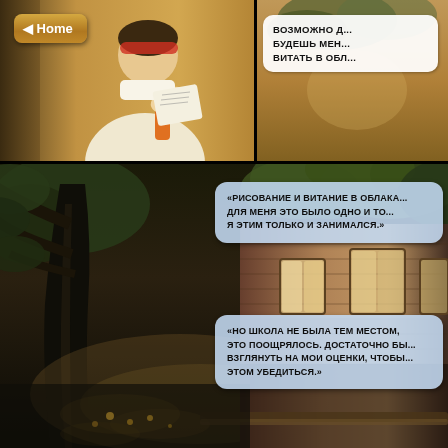[Figure (illustration): Comic book page with two panels. Top panel shows a character (student with backpack reading) against a warm orange/tan background, with a speech bubble partially visible on the right saying 'ВОЗМОЖНО Д... / БУДЕШЬ МЕН... / ВИТАТЬ В ОБЛ...'. A Home navigation button is in the top-left corner. The main lower panel shows a dark atmospheric outdoor scene with a large tree in silhouette, a brick building with windows in warm evening light, and two comic speech bubbles with Russian text.]
◄ Home
ВОЗМОЖНО Д... БУДЕШЬ МЕН... ВИТАТЬ В ОБЛ...
«РИСОВАНИЕ И ВИТАНИЕ В ОБЛАКА... ДЛЯ МЕНЯ ЭТО БЫЛО ОДНО И ТО... Я ЭТИМ ТОЛЬКО И ЗАНИМАЛСЯ.»
«НО ШКОЛА НЕ БЫЛА ТЕМ МЕСТОМ, ... ЭТО ПООЩРЯЛОСЬ. ДОСТАТОЧНО БЫ... ВЗГЛЯНУТЬ НА МОИ ОЦЕНКИ, ЧТОБЫ... ЭТОМ УБЕДИТЬСЯ.»